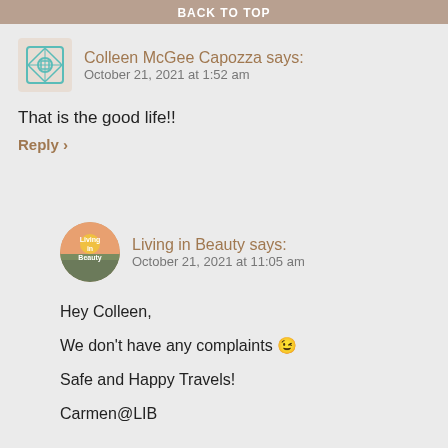BACK TO TOP
Colleen McGee Capozza says:
October 21, 2021 at 1:52 am
That is the good life!!
Reply ›
Living in Beauty says:
October 21, 2021 at 11:05 am
Hey Colleen,

We don't have any complaints 😉

Safe and Happy Travels!

Carmen@LIB